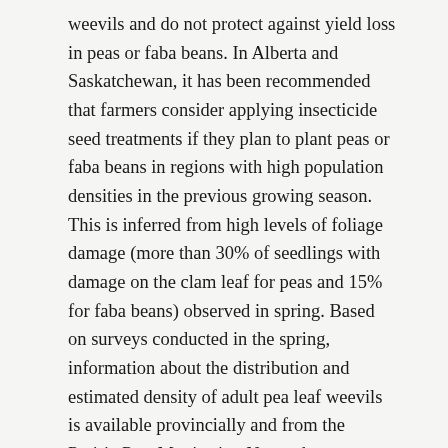weevils and do not protect against yield loss in peas or faba beans. In Alberta and Saskatchewan, it has been recommended that farmers consider applying insecticide seed treatments if they plan to plant peas or faba beans in regions with high population densities in the previous growing season. This is inferred from high levels of foliage damage (more than 30% of seedlings with damage on the clam leaf for peas and 15% for faba beans) observed in spring. Based on surveys conducted in the spring, information about the distribution and estimated density of adult pea leaf weevils is available provincially and from the Prairie Pest Monitoring Network (prairiepest.ca), usually in January. A protocol for scouting fields for adult weevils in the spring is available from the Prairie Pest Monitoring Network.
There are also some options for cultural control of pea leaf weevil. Because the earliest planted pea fields tend to be most damaged, delaying planting may reduce the risk of damage.